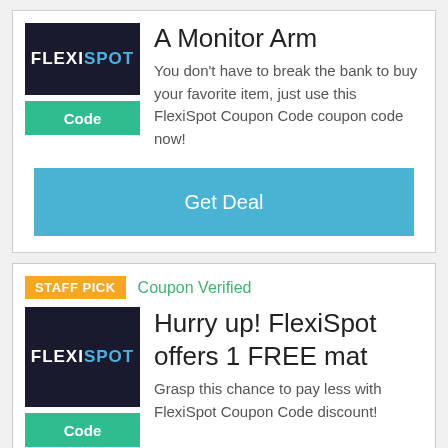[Figure (logo): FlexiSpot logo on dark background]
A Monitor Arm
You don't have to break the bank to buy your favorite item, just use this FlexiSpot Coupon Code coupon code now!
Get Deal
STAFF PICK
Coupon Verified
[Figure (logo): FlexiSpot logo on dark background]
Hurry up! FlexiSpot offers 1 FREE mat
Grasp this chance to pay less with FlexiSpot Coupon Code discount!